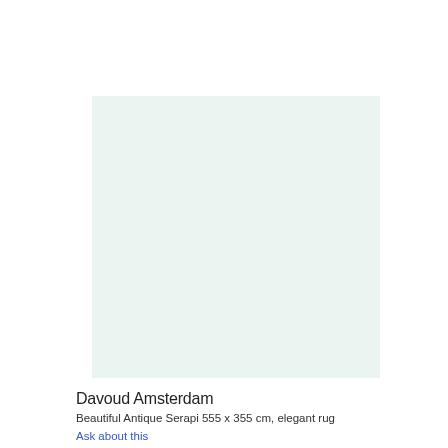[Figure (photo): Light mint/pale green placeholder rectangle representing a product image of an antique rug]
Davoud Amsterdam
Beautiful Antique Serapi 555 x 355 cm, elegant rug
Ask about this